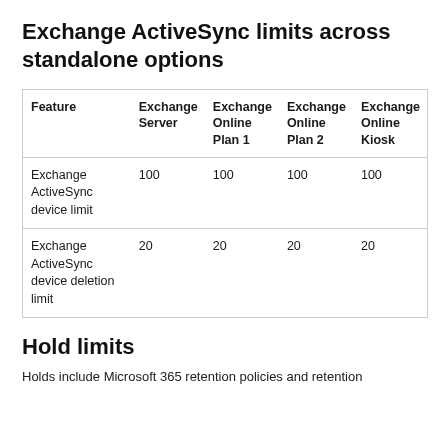Exchange ActiveSync limits across standalone options
| Feature | Exchange Server | Exchange Online Plan 1 | Exchange Online Plan 2 | Exchange Online Kiosk |
| --- | --- | --- | --- | --- |
| Exchange ActiveSync device limit | 100 | 100 | 100 | 100 |
| Exchange ActiveSync device deletion limit | 20 | 20 | 20 | 20 |
Hold limits
Holds include Microsoft 365 retention policies and retention